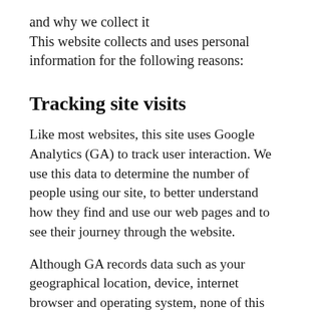and why we collect it
This website collects and uses personal information for the following reasons:
Tracking site visits
Like most websites, this site uses Google Analytics (GA) to track user interaction. We use this data to determine the number of people using our site, to better understand how they find and use our web pages and to see their journey through the website.
Although GA records data such as your geographical location, device, internet browser and operating system, none of this information can personally identify you. GA does not record